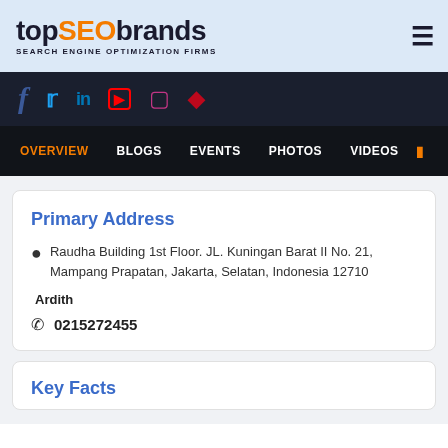top SEO brands — SEARCH ENGINE OPTIMIZATION FIRMS
[Figure (screenshot): Social media icons row: Facebook, Twitter, LinkedIn, YouTube, Instagram, Pinterest on dark background]
Navigation bar: OVERVIEW | BLOGS | EVENTS | PHOTOS | VIDEOS | (more)
Primary Address
Raudha Building 1st Floor. JL. Kuningan Barat II No. 21, Mampang Prapatan, Jakarta, Selatan, Indonesia 12710
Ardith
0215272455
Key Facts